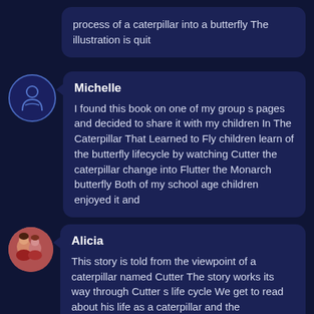process of a caterpillar into a butterfly The illustration is quit
Michelle
I found this book on one of my group s pages and decided to share it with my children In The Caterpillar That Learned to Fly children learn of the butterfly lifecycle by watching Cutter the caterpillar change into Flutter the Monarch butterfly Both of my school age children enjoyed it and
Alicia
This story is told from the viewpoint of a caterpillar named Cutter The story works its way through Cutter s life cycle We get to read about his life as a caterpillar and the